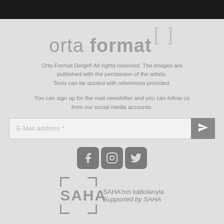[Figure (logo): Orta Format logo with bracket symbols]
Orta Format Dergi® All rights reserved. The images are published with the permission of the artists. Texts can be quoted with references provided.
You can sign up for the mail newsletter and you can follow us from our social media accounts.
[Figure (other): Email newsletter signup input field with submit button]
[Figure (other): Social media icons: Facebook, Instagram, Twitter]
[Figure (logo): SAHA logo with bracket corners and text: SAHA'nın katkılarıyla / Supported by SAHA]